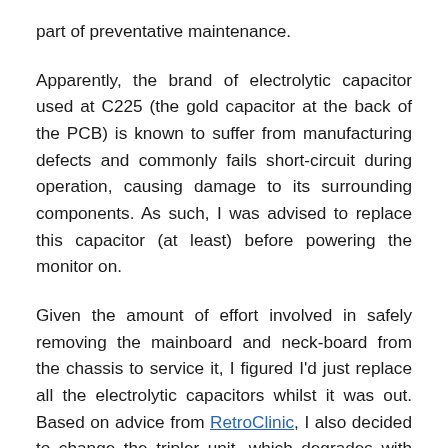part of preventative maintenance.
Apparently, the brand of electrolytic capacitor used at C225 (the gold capacitor at the back of the PCB) is known to suffer from manufacturing defects and commonly fails short-circuit during operation, causing damage to its surrounding components. As such, I was advised to replace this capacitor (at least) before powering the monitor on.
Given the amount of effort involved in safely removing the mainboard and neck-board from the chassis to service it, I figured I'd just replace all the electrolytic capacitors whilst it was out. Based on advice from RetroClinic, I also decided to change the tripler unit, which degrades with heavy use and can affect the picture quality.